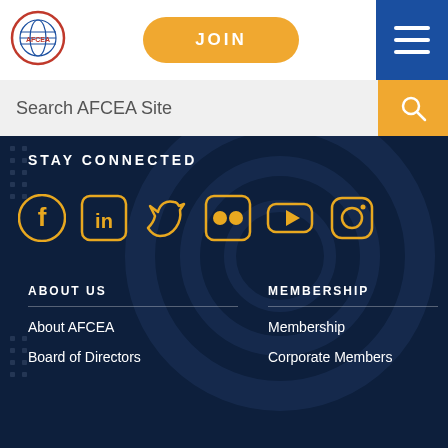[Figure (logo): AFCEA globe logo with red circle border]
JOIN
[Figure (other): Hamburger menu icon (three white horizontal lines on blue background)]
Search AFCEA Site
STAY CONNECTED
[Figure (other): Social media icons row: Facebook, LinkedIn, Twitter, Flickr, YouTube, Instagram — all in gold/amber color]
ABOUT US
MEMBERSHIP
About AFCEA
Membership
Board of Directors
Corporate Members